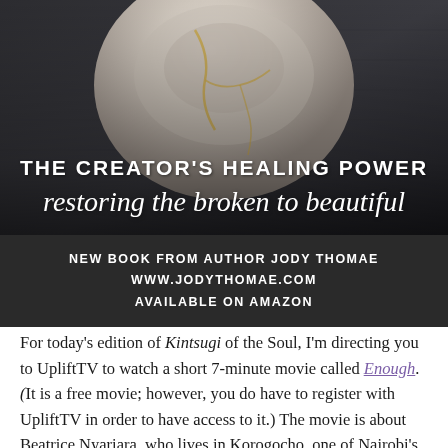[Figure (photo): Close-up photo of a cracked ceramic bowl repaired with gold (kintsugi style), on a dark fabric background]
THE CREATOR'S HEALING POWER
restoring the broken to beautiful
NEW BOOK FROM AUTHOR JODY THOMAE
WWW.JODYTHOMAE.COM
AVAILABLE ON AMAZON
For today's edition of Kintsugi of the Soul, I'm directing you to UpliftTV to watch a short 7-minute movie called Enough. (It is a free movie; however, you do have to register with UpliftTV in order to have access to it.) The movie is about Beatrice Nyariara, who lives in Korogocho, one of Nairobi's most dangerous